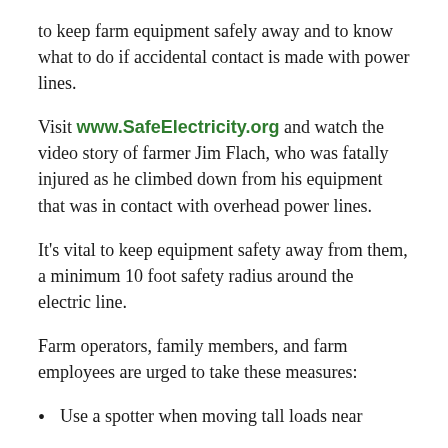to keep farm equipment safely away and to know what to do if accidental contact is made with power lines.
Visit www.SafeElectricity.org and watch the video story of farmer Jim Flach, who was fatally injured as he climbed down from his equipment that was in contact with overhead power lines.
It's vital to keep equipment safety away from them, a minimum 10 foot safety radius around the electric line.
Farm operators, family members, and farm employees are urged to take these measures:
Use a spotter when moving tall loads near